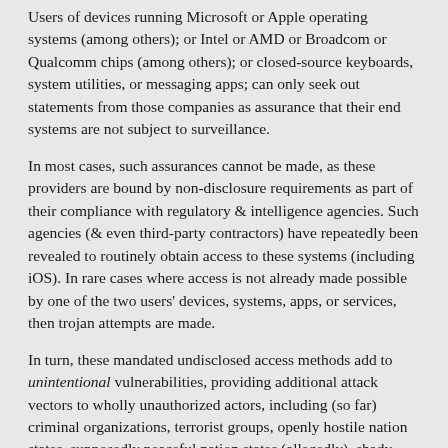Users of devices running Microsoft or Apple operating systems (among others); or Intel or AMD or Broadcom or Qualcomm chips (among others); or closed-source keyboards, system utilities, or messaging apps; can only seek out statements from those companies as assurance that their end systems are not subject to surveillance.
In most cases, such assurances cannot be made, as these providers are bound by non-disclosure requirements as part of their compliance with regulatory & intelligence agencies. Such agencies (& even third-party contractors) have repeatedly been revealed to routinely obtain access to these systems (including iOS). In rare cases where access is not already made possible by one of the two users' devices, systems, apps, or services, then trojan attempts are made.
In turn, these mandated undisclosed access methods add to unintentional vulnerabilities, providing additional attack vectors to wholly unauthorized actors, including (so far) criminal organizations, terrorist groups, openly hostile nation states, supposedly peaceful nation states (allegedly), shady copyright-enforcement providers given free rein under revised (corporate authored) legislation, & highly motivated or resource-rich